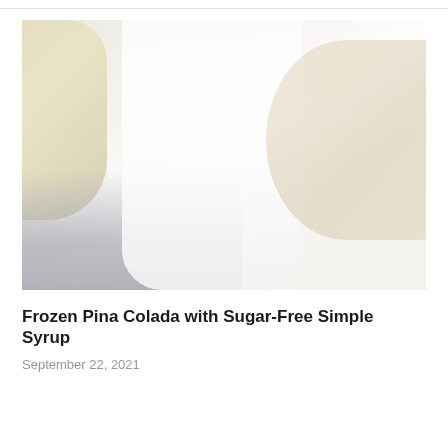[Figure (photo): A washed-out, high-key photograph of a frozen pina colada drink in a glass, with a pineapple visible on the left side and a wicker/rattan decorative element on the right. The image is very bright and light with a white background.]
Frozen Pina Colada with Sugar-Free Simple Syrup
September 22, 2021